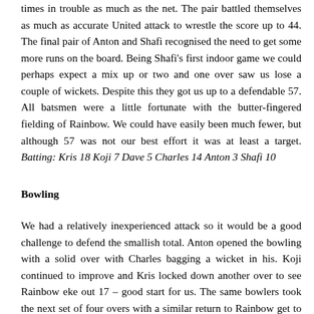times in trouble as much as the net. The pair battled themselves as much as accurate United attack to wrestle the score up to 44. The final pair of Anton and Shafi recognised the need to get some more runs on the board. Being Shafi's first indoor game we could perhaps expect a mix up or two and one over saw us lose a couple of wickets. Despite this they got us up to a defendable 57. All batsmen were a little fortunate with the butter-fingered fielding of Rainbow. We could have easily been much fewer, but although 57 was not our best effort it was at least a target. Batting: Kris 18 Koji 7 Dave 5 Charles 14 Anton 3 Shafi 10
Bowling
We had a relatively inexperienced attack so it would be a good challenge to defend the smallish total. Anton opened the bowling with a solid over with Charles bagging a wicket in his. Koji continued to improve and Kris locked down another over to see Rainbow eke out 17 – good start for us. The same bowlers took the next set of four overs with a similar return to Rainbow get to 37. With Dave and 'newbie' Shafi to finish out we were in with a chance. With